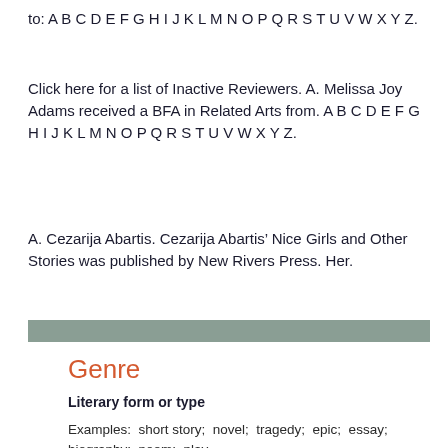to: A B C D E F G H I J K L M N O P Q R S T U V W X Y Z.
Click here for a list of Inactive Reviewers. A. Melissa Joy Adams received a BFA in Related Arts from. A B C D E F G H I J K L M N O P Q R S T U V W X Y Z.
A. Cezarija Abartis. Cezarija Abartis’ Nice Girls and Other Stories was published by New Rivers Press. Her.
Genre
Literary form or type
Examples:  short story;  novel;  tragedy;  epic;  essay;  biography;  poem;  play.
Genre also applies  to music, e.g., jazz, classical,  pop,  country, etc.